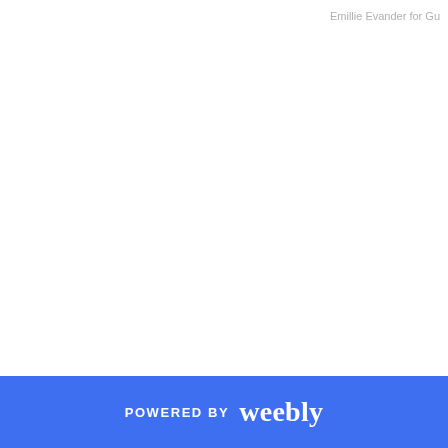Emillie Evander for Gu
POWERED BY weebly